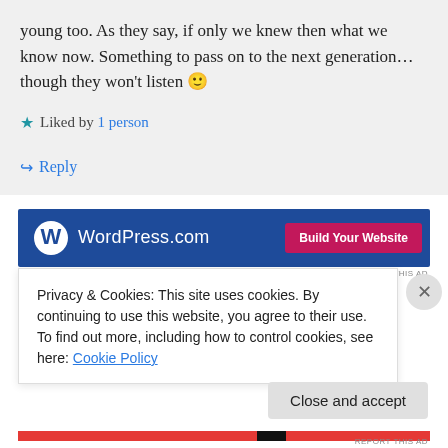young too. As they say, if only we knew then what we know now. Something to pass on to the next generation...though they won't listen 🙂
★ Liked by 1 person
↪ Reply
[Figure (screenshot): WordPress.com advertisement banner with blue background, WordPress logo, and pink 'Build Your Website' button]
REPORT THIS AD
Privacy & Cookies: This site uses cookies. By continuing to use this website, you agree to their use.
To find out more, including how to control cookies, see here: Cookie Policy
Close and accept